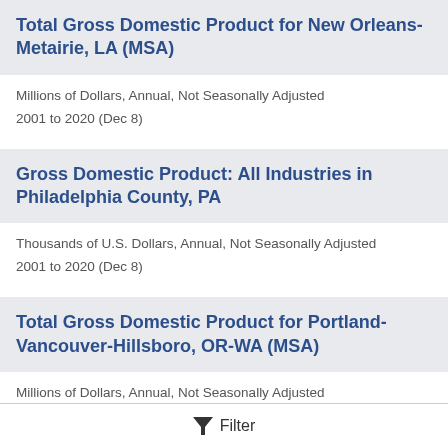Total Gross Domestic Product for New Orleans-Metairie, LA (MSA)
Millions of Dollars, Annual, Not Seasonally Adjusted
2001 to 2020 (Dec 8)
Gross Domestic Product: All Industries in Philadelphia County, PA
Thousands of U.S. Dollars, Annual, Not Seasonally Adjusted
2001 to 2020 (Dec 8)
Total Gross Domestic Product for Portland-Vancouver-Hillsboro, OR-WA (MSA)
Millions of Dollars, Annual, Not Seasonally Adjusted
Filter